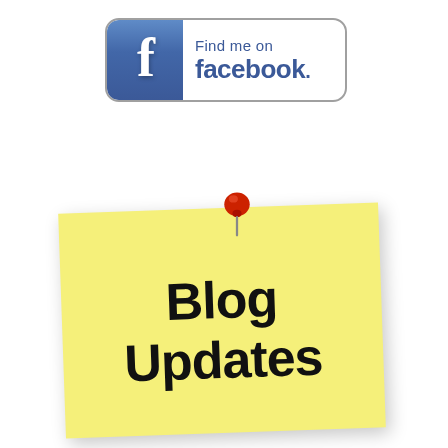[Figure (logo): Find me on Facebook button with blue Facebook logo icon on left and 'Find me on facebook.' text on right, rounded rectangle border]
[Figure (illustration): Yellow sticky note pinned with a red pushpin, with handwritten-style text reading 'Blog Updates']